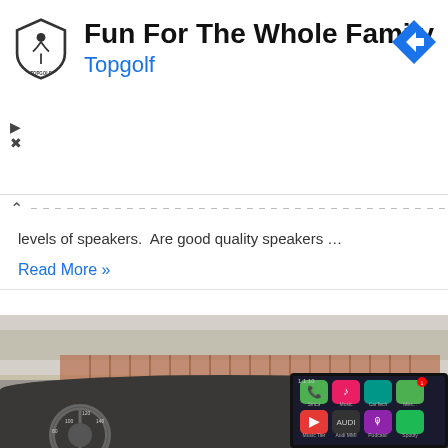[Figure (logo): Topgolf advertisement banner with Topgolf logo (shield shape), title 'Fun For The Whole Family', brand name 'Topgolf' in blue, and a navigation/turn arrow diamond icon in the top right]
levels of speakers.  Are good quality speakers …
Read More »
[Figure (photo): Photo of a car dashboard showing an aftermarket touchscreen head unit displaying Apple CarPlay interface with app icons including Phone, Music, CarTunes, Messages, Music App, Audi MMI, Podcasts, and Spotify. The background shows an out-of-focus road scene through the windshield.]